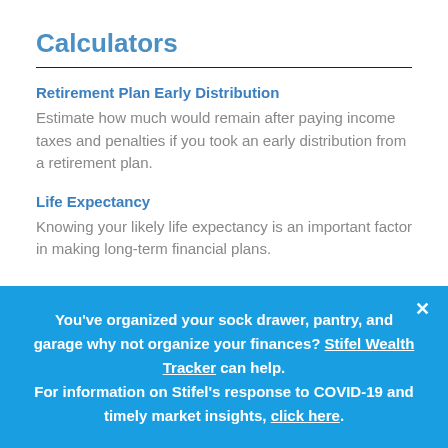Calculators
Retirement Plan Early Distribution
Estimate how much would remain after paying income taxes and penalties if you took an early distribution from a retirement plan.
Life Expectancy
Knowing your likely life expectancy is an important factor in making long-term financial plans.
You've organized your sock drawer, pantry, and garage why not organize your finances? Stifel Wealth Tracker can help.
For information on Stifel's response to COVID-19 and timely market insights, click here.